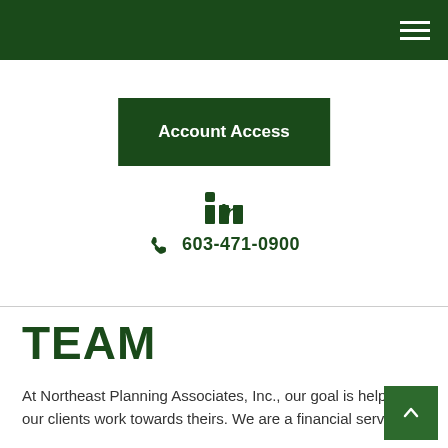Northeast Planning Associates, Inc. navigation header
Account Access
[Figure (logo): LinkedIn icon (in)]
☎ 603-471-0900
TEAM
At Northeast Planning Associates, Inc., our goal is helping our clients work towards theirs. We are a financial services